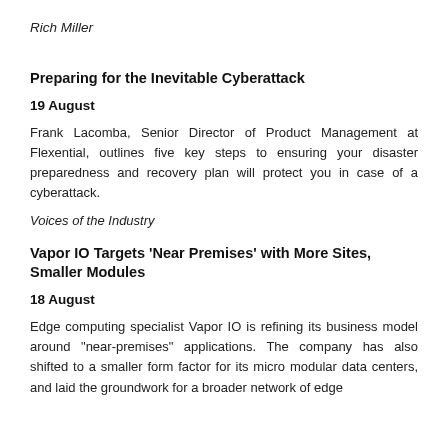Rich Miller
Preparing for the Inevitable Cyberattack
19 August
Frank Lacomba, Senior Director of Product Management at Flexential, outlines five key steps to ensuring your disaster preparedness and recovery plan will protect you in case of a cyberattack.
Voices of the Industry
Vapor IO Targets ‘Near Premises’ with More Sites, Smaller Modules
18 August
Edge computing specialist Vapor IO is refining its business model around "near-premises" applications. The company has also shifted to a smaller form factor for its micro modular data centers, and laid the groundwork for a broader network of edge